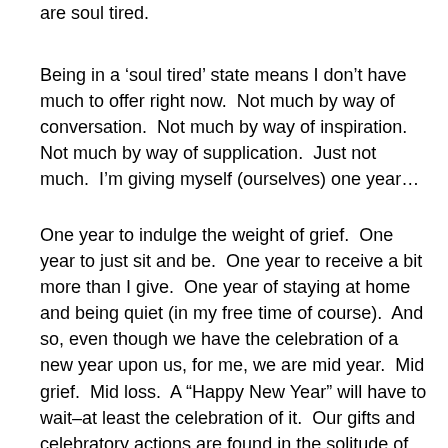are soul tired.
Being in a ‘soul tired’ state means I don’t have much to offer right now.  Not much by way of conversation.  Not much by way of inspiration.  Not much by way of supplication.  Just not much.  I’m giving myself (ourselves) one year…
One year to indulge the weight of grief.  One year to just sit and be.  One year to receive a bit more than I give.  One year of staying at home and being quiet (in my free time of course).  And so, even though we have the celebration of a new year upon us, for me, we are mid year.  Mid grief.  Mid loss.  A “Happy New Year” will have to wait–at least the celebration of it.  Our gifts and celebratory actions are found in the solitude of the love we share with each other.  The hope and complete